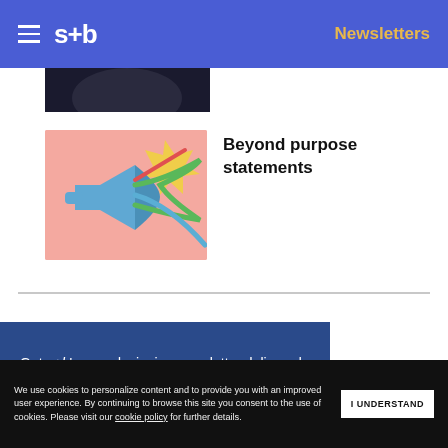s+b   Newsletters
[Figure (photo): Partial thumbnail of dark article image at top]
[Figure (illustration): Pink background illustration with blue megaphone and colorful ribbons/streamers]
Beyond purpose statements
Get s+b's award-winning newsletter delivered to your inbox.
We use cookies to personalize content and to provide you with an improved user experience. By continuing to browse this site you consent to the use of cookies. Please visit our cookie policy for further details.